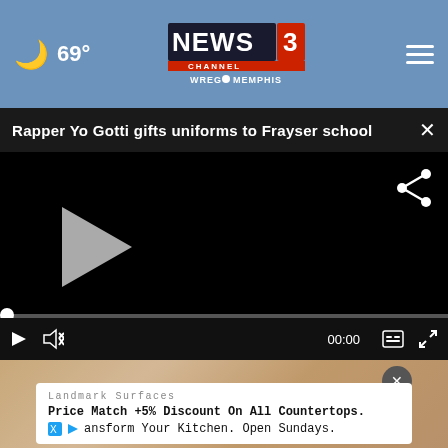🌙 69° — NEWS3 CHANNEL WREG MEMPHIS — ☰
Rapper Yo Gotti gifts uniforms to Frayser school
[Figure (screenshot): Black video player with share icon, play button, progress bar, and controls bar showing 00:00 time, mute, captions, and fullscreen icons]
[Figure (photo): Wood/warm-toned background visible below the video player, partially obscured by an advertisement overlay]
Landmark Surfaces
Price Match +5% Discount On All Countertops.
Transform Your Kitchen. Open Sundays.